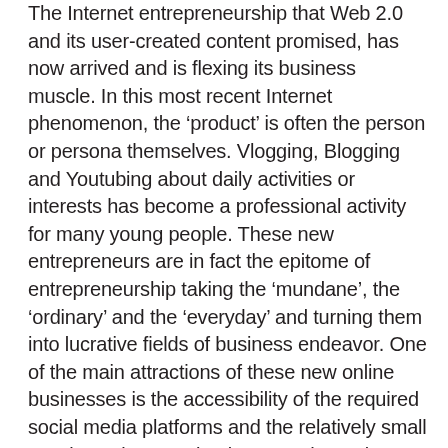The Internet entrepreneurship that Web 2.0 and its user-created content promised, has now arrived and is flexing its business muscle. In this most recent Internet phenomenon, the 'product' is often the person or persona themselves. Vlogging, Blogging and Youtubing about daily activities or interests has become a professional activity for many young people. These new entrepreneurs are in fact the epitome of entrepreneurship taking the 'mundane', the 'ordinary' and the 'everyday' and turning them into lucrative fields of business endeavor. One of the main attractions of these new online businesses is the accessibility of the required social media platforms and the relatively small cost in setting up a business as the main investment necessary is an investment of time and energy.